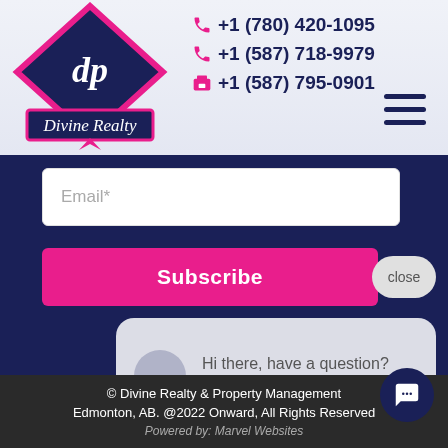[Figure (logo): Divine Realty diamond-shaped logo with 'dp' script and 'Divine Realty' text on navy/pink banner]
+1 (780) 420-1095
+1 (587) 718-9979
+1 (587) 795-0901
Email*
Subscribe
close
Hi there, have a question? Text us here.
© Divine Realty & Property Management Edmonton, AB. @2022 Onward, All Rights Reserved
Powered by: Marvel Websites